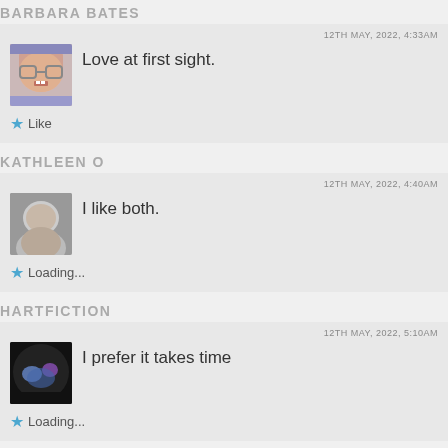BARBARA BATES
12TH MAY, 2022, 4:33AM
Love at first sight.
★ Like
KATHLEEN O
12TH MAY, 2022, 4:40AM
I like both.
★ Loading...
HARTFICTION
12TH MAY, 2022, 5:10AM
I prefer it takes time
★ Loading...
GLENDA M